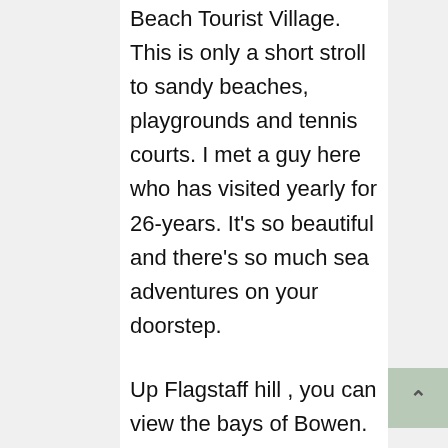Beach Tourist Village. This is only a short stroll to sandy beaches, playgrounds and tennis courts. I met a guy here who has visited yearly for 26-years. It's so beautiful and there's so much sea adventures on your doorstep.
Up Flagstaff hill , you can view the bays of Bowen. You can see endless